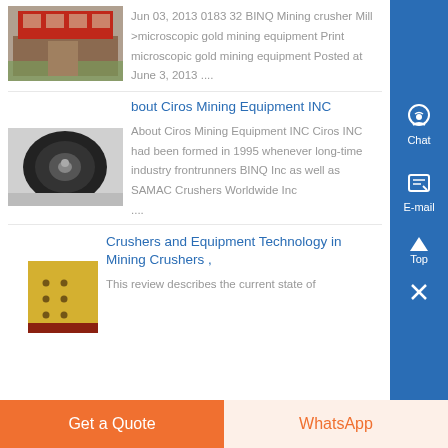[Figure (photo): Building/factory exterior photo]
Jun 03, 2013 0183 32 BINQ Mining crusher Mill >microscopic gold mining equipment Print microscopic gold mining equipment Posted at June 3, 2013 ....
[Figure (photo): Round mechanical component, black]
About Ciros Mining Equipment INC
About Ciros Mining Equipment INC Ciros INC had been formed in 1995 whenever long-time industry frontrunners BINQ Inc as well as SAMAC Crushers Worldwide Inc ....
[Figure (photo): Yellow wooden/metal surface with holes]
Crushers and Equipment Technology in Mining Crushers ,
This review describes the current state of
Get a Quote
WhatsApp